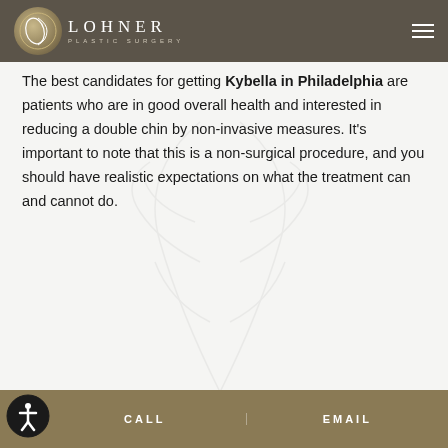Lohner Plastic Surgery – Navigation bar with logo
The best candidates for getting Kybella in Philadelphia are patients who are in good overall health and interested in reducing a double chin by non-invasive measures. It's important to note that this is a non-surgical procedure, and you should have realistic expectations on what the treatment can and cannot do.
CALL | EMAIL